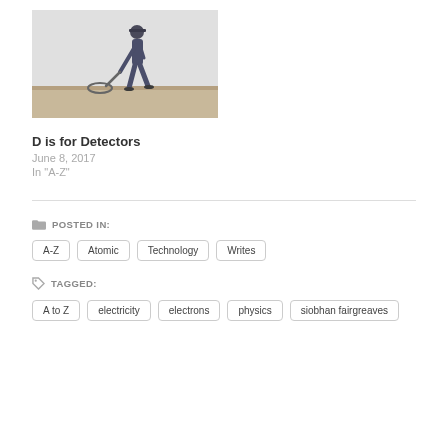[Figure (photo): A person using a metal detector on a sandy beach or open ground, viewed from the side against a light grey sky.]
D is for Detectors
June 8, 2017
In "A-Z"
POSTED IN:
A-Z
Atomic
Technology
Writes
TAGGED:
A to Z
electricity
electrons
physics
siobhan fairgreaves